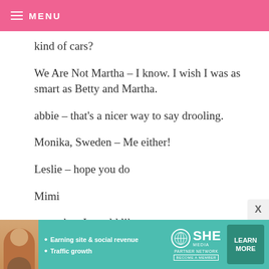MENU
kind of cars?
We Are Not Martha – I know. I wish I was as smart as Betty and Martha.
abbie – that's a nicer way to say drooling.
Monika, Sweden – Me either!
Leslie – hope you do
Mimi
more than I would like.
No.
[Figure (infographic): SHE Media Partner Network advertisement banner with woman photo, bullet points about earning site & social revenue and traffic growth, SHE logo, and LEARN MORE button.]